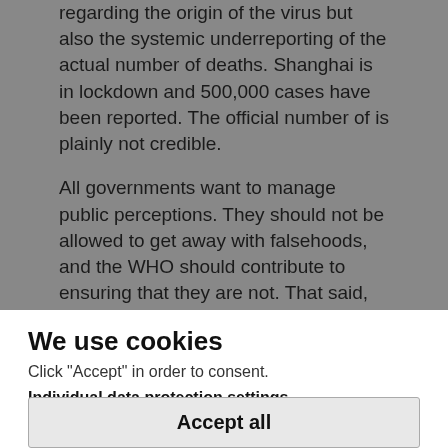regarding the origin of the virus but also the systemic underreporting of the actual number of deaths. Shanghai is in lockdown and 500,000 cases have been reported. The official number of is plainly not credible.

All governments want to manage public perceptions. They should not be allowed to get away with falsehoods, and the WHO should contribute to ensuring that they are not. That said, arguing that Chinese statistics are simply not believable is no excuse for India's government to
We use cookies
Click "Accept" in order to consent.
Individual data protection settings
Accept all